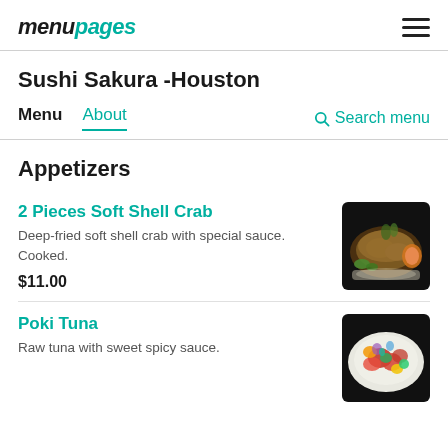menupages
Sushi Sakura -Houston
Menu   About   Search menu
Appetizers
2 Pieces Soft Shell Crab
Deep-fried soft shell shell crab with special sauce. Cooked.
$11.00
[Figure (photo): Photo of deep-fried soft shell crab on a plate with garnish and sauce]
Poki Tuna
Raw tuna with sweet spicy sauce.
[Figure (photo): Photo of poki tuna bowl with colorful vegetables and garnish]